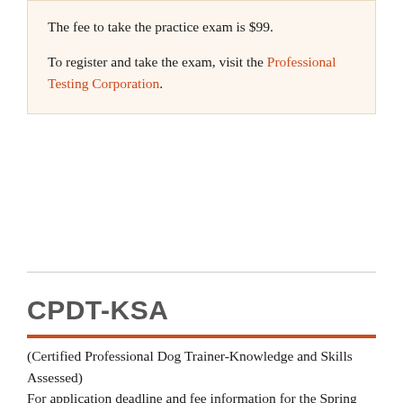The fee to take the practice exam is $99.
To register and take the exam, visit the Professional Testing Corporation.
CPDT-KSA
(Certified Professional Dog Trainer-Knowledge and Skills Assessed)
For application deadline and fee information for the Spring and Fall testing periods, please visit Deadlines and Fees .